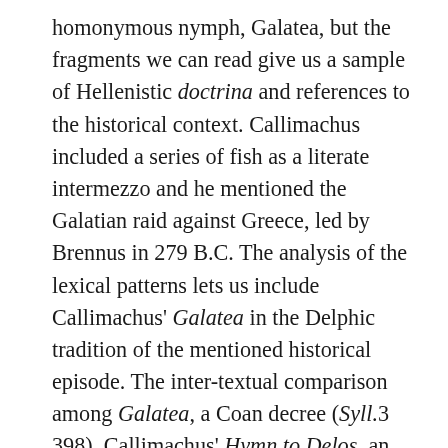homonymous nymph, Galatea, but the fragments we can read give us a sample of Hellenistic doctrina and references to the historical context. Callimachus included a series of fish as a literate intermezzo and he mentioned the Galatian raid against Greece, led by Brennus in 279 B.C. The analysis of the lexical patterns lets us include Callimachus' Galatea in the Delphic tradition of the mentioned historical episode. The inter-textual comparison among Galatea, a Coan decree (Syll.3 398), Callimachus' Hymn to Delos, an epigram attributed to Anyte of Tegea (Anth. Pal. 7. 492), two elegiac fragments (CID III 1–2) and other epigraphic testimonies provide a wide panorama of this narrative schema,